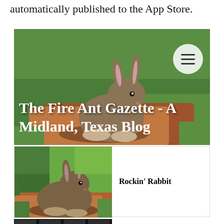automatically published to the App Store.
[Figure (screenshot): Website screenshot of 'The Fire Ant Gazette - A Midland, Texas Blog' showing a rabbit sitting on a red rock surrounded by green grass, with a hamburger menu icon in the top right corner and the blog title overlaid in white bold serif text.]
[Figure (photo): Close-up photo of a rabbit resting on a red/brown rock with green grass in the background.]
Rockin' Rabbit
[Figure (photo): Filmstrip of small dark thumbnail photos at the bottom.]